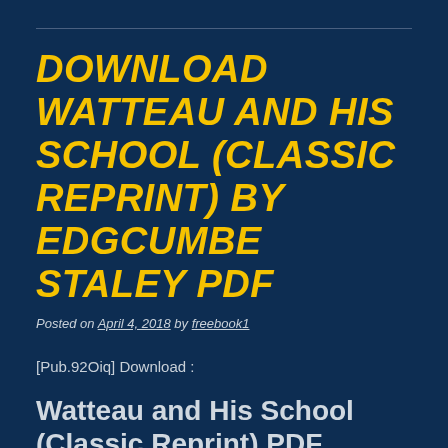DOWNLOAD WATTEAU AND HIS SCHOOL (CLASSIC REPRINT) BY EDGCUMBE STALEY PDF
Posted on April 4, 2018 by freebook1
[Pub.92Oiq] Download :
Watteau and His School (Classic Reprint) PDF